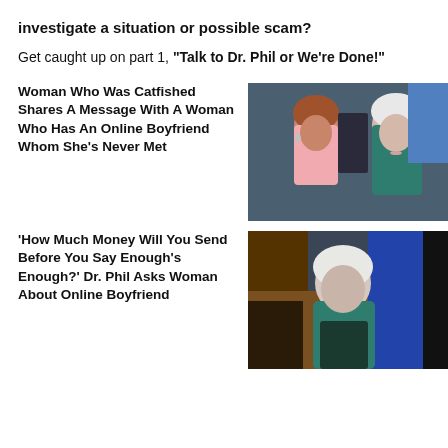investigate a situation or possible scam?
Get caught up on part 1, “Talk to Dr. Phil or We’re Done!”
Woman Who Was Catfished Shares A Message With A Woman Who Has An Online Boyfriend Whom She’s Never Met
[Figure (photo): Two older women sitting together; one with auburn hair in pink jacket, one with white hair in teal jacket]
‘How Much Money Will You Send Before You Say Enough’s Enough?’ Dr. Phil Asks Woman About Online Boyfriend
[Figure (photo): Older woman with white hair in teal jacket, speaking on Dr. Phil stage]